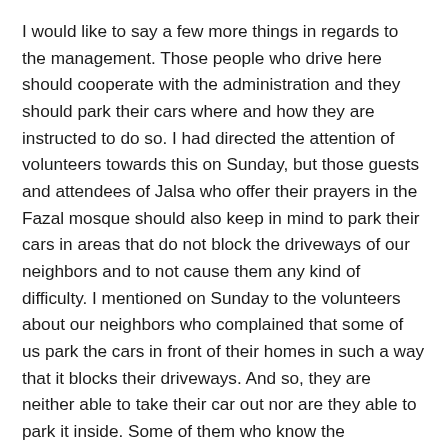I would like to say a few more things in regards to the management. Those people who drive here should cooperate with the administration and they should park their cars where and how they are instructed to do so. I had directed the attention of volunteers towards this on Sunday, but those guests and attendees of Jalsa who offer their prayers in the Fazal mosque should also keep in mind to park their cars in areas that do not block the driveways of our neighbors and to not cause them any kind of difficulty. I mentioned on Sunday to the volunteers about our neighbors who complained that some of us park the cars in front of their homes in such a way that it blocks their driveways. And so, they are neither able to take their car out nor are they able to park it inside. Some of them who know the community, as they meet us every year or they receive presents on Eid from us or we meet them during the days of the Jalsa, have gone